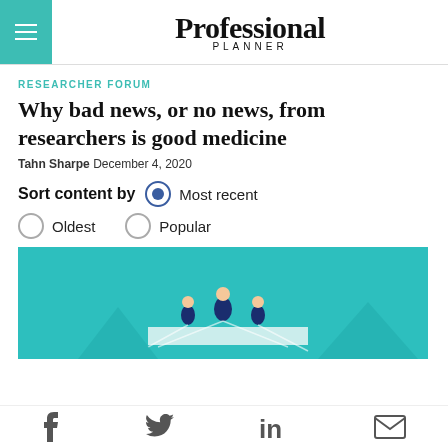Professional Planner
RESEARCHER FORUM
Why bad news, or no news, from researchers is good medicine
Tahn Sharpe  December 4, 2020
Sort content by  Most recent  Oldest  Popular
[Figure (illustration): Teal/cyan background illustration showing figures in suits standing on a platform, appearing to be a business/finance themed editorial illustration]